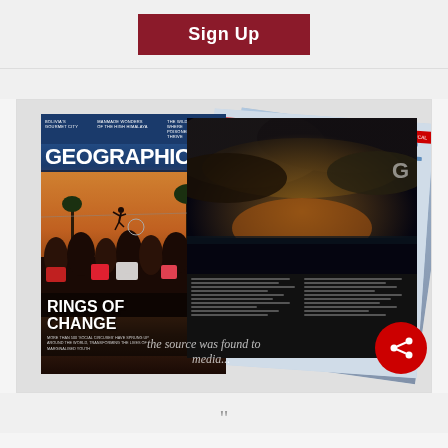[Figure (illustration): A red 'Sign Up' button on a light gray background]
[Figure (photo): Geographical magazine cover showing 'Rings of Change' with crowd and acrobat, fanned with interior pages including a storm photo spread, and a red share button overlay. Watermark text visible reading 'the source was found to' and 'media...']
"